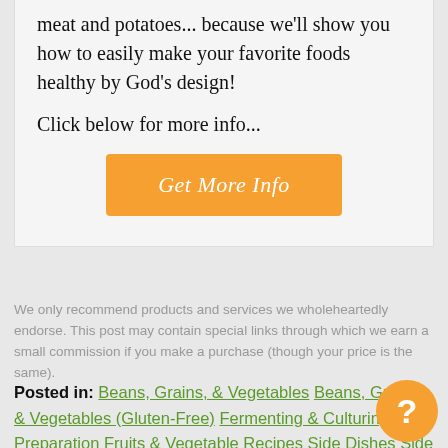meat and potatoes... because we'll show you how to easily make your favorite foods healthy by God's design!
Click below for more info...
[Figure (other): Orange button labeled 'Get More Info']
We only recommend products and services we wholeheartedly endorse. This post may contain special links through which we earn a small commission if you make a purchase (though your price is the same).
Posted in: Beans, Grains, & Vegetables Beans, Grains, & Vegetables (Gluten-Free) Fermenting & Culturing Food Preparation Fruits & Vegetables Recipes Side Dishes Side Dishes (Gluten-Free) Videos